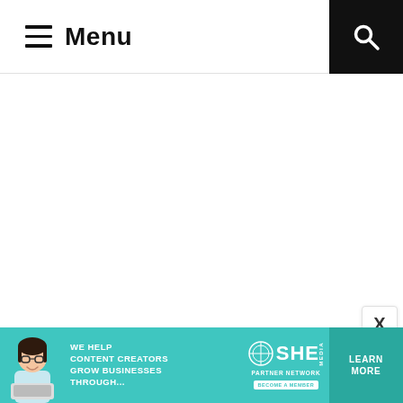≡ Menu
[Figure (screenshot): White empty main content area below the navigation header]
[Figure (infographic): Advertisement banner: teal background with woman photo, text 'WE HELP CONTENT CREATORS GROW BUSINESSES THROUGH...', SHE media partner network logo, 'BECOME A MEMBER' badge, and 'LEARN MORE' button]
X